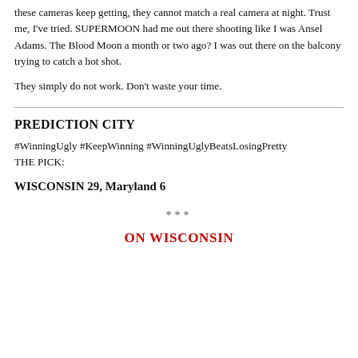these cameras keep getting, they cannot match a real camera at night. Trust me, I've tried. SUPERMOON had me out there shooting like I was Ansel Adams. The Blood Moon a month or two ago? I was out there on the balcony trying to catch a hot shot.
They simply do not work. Don't waste your time.
PREDICTION CITY
#WinningUgly #KeepWinning #WinningUglyBeatsLosingPretty
THE PICK:
WISCONSIN 29, Maryland 6
***
ON WISCONSIN